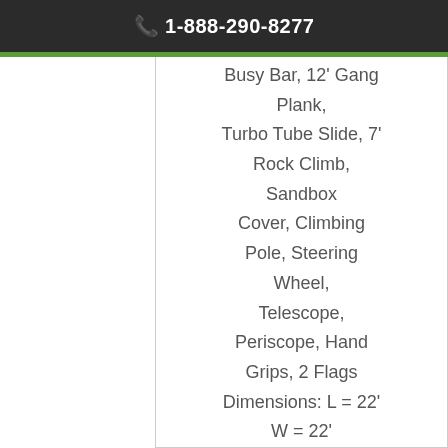1-888-290-8277
Busy Bar, 12' Gang Plank, Turbo Tube Slide, 7' Rock Climb, Sandbox Cover, Climbing Pole, Steering Wheel, Telescope, Periscope, Hand Grips, 2 Flags Dimensions: L = 22' W = 22' Floor Heights = 5' and 7' Swing Height = 10' Price:$4,802